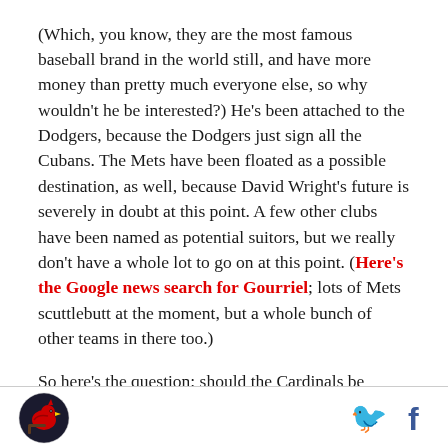(Which, you know, they are the most famous baseball brand in the world still, and have more money than pretty much everyone else, so why wouldn't he be interested?) He's been attached to the Dodgers, because the Dodgers just sign all the Cubans. The Mets have been floated as a possible destination, as well, because David Wright's future is severely in doubt at this point. A few other clubs have been named as potential suitors, but we really don't have a whole lot to go on at this point. (Here's the Google news search for Gourriel; lots of Mets scuttlebutt at the moment, but a whole bunch of other teams in there too.)
So here's the question: should the Cardinals be
[Cardinals logo] [Twitter icon] [Facebook icon]